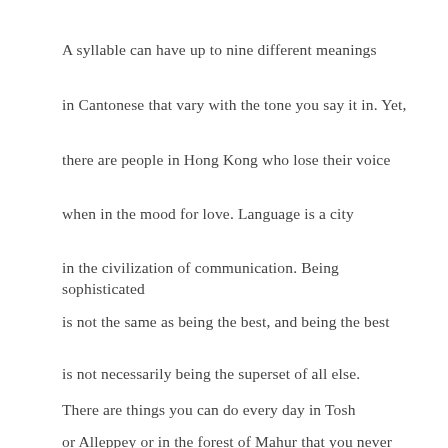A syllable can have up to nine different meanings
in Cantonese that vary with the tone you say it in. Yet,
there are people in Hong Kong who lose their voice
when in the mood for love. Language is a city
in the civilization of communication. Being sophisticated
is not the same as being the best, and being the best
is not necessarily being the superset of all else.
There are things you can do every day in Tosh
or Alleppey or in the forest of Mahur that you never can